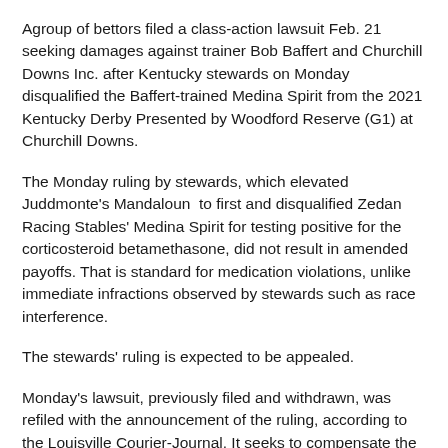A group of bettors filed a class-action lawsuit Feb. 21 seeking damages against trainer Bob Baffert and Churchill Downs Inc. after Kentucky stewards on Monday disqualified the Baffert-trained Medina Spirit from the 2021 Kentucky Derby Presented by Woodford Reserve (G1) at Churchill Downs.
The Monday ruling by stewards, which elevated Juddmonte's Mandaloun to first and disqualified Zedan Racing Stables' Medina Spirit for testing positive for the corticosteroid betamethasone, did not result in amended payoffs. That is standard for medication violations, unlike immediate infractions observed by stewards such as race interference.
The stewards' ruling is expected to be appealed.
Monday's lawsuit, previously filed and withdrawn, was refiled with the announcement of the ruling, according to the Louisville Courier-Journal. It seeks to compensate the plaintiffs for "harms suffered, losses incurred, and damage caused" and seeks judgment in an amount representing the payout of the winning